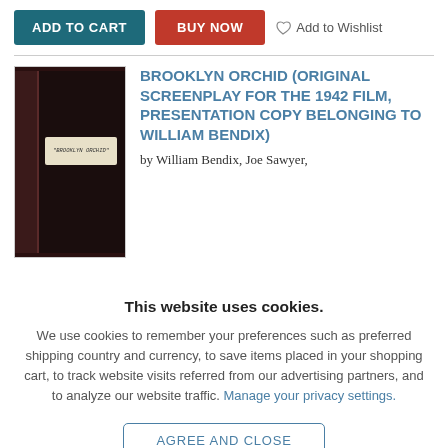[Figure (other): E-commerce page top bar with ADD TO CART (teal button), BUY NOW (red button), and Add to Wishlist link with heart icon]
[Figure (photo): Book cover of Brooklyn Orchid original screenplay, dark maroon/black cover with label reading 'BROOKLYN ORCHID']
BROOKLYN ORCHID (ORIGINAL SCREENPLAY FOR THE 1942 FILM, PRESENTATION COPY BELONGING TO WILLIAM BENDIX)
by William Bendix, Joe Sawyer,
This website uses cookies.
We use cookies to remember your preferences such as preferred shipping country and currency, to save items placed in your shopping cart, to track website visits referred from our advertising partners, and to analyze our website traffic. Manage your privacy settings.
AGREE AND CLOSE